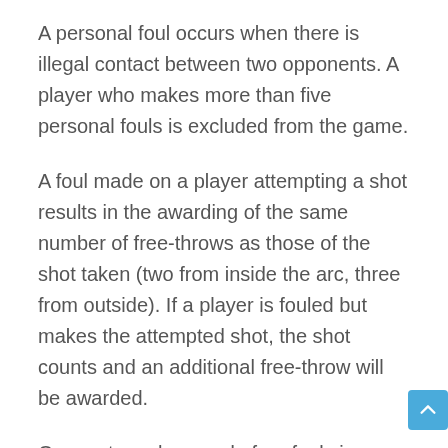A personal foul occurs when there is illegal contact between two opponents. A player who makes more than five personal fouls is excluded from the game.
A foul made on a player attempting a shot results in the awarding of the same number of free-throws as those of the shot taken (two from inside the arc, three from outside). If a player is fouled but makes the attempted shot, the shot counts and an additional free-throw will be awarded.
Once a team has made four fouls in a period, each additional foul (on a player not attempting a shot) will result in the automatic awarding of two free-throws.